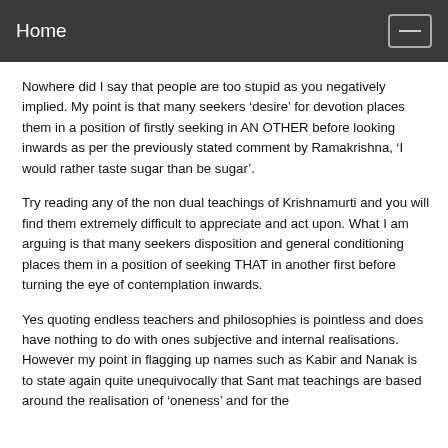Home
Nowhere did I say that people are too stupid as you negatively implied. My point is that many seekers ‘desire’ for devotion places them in a position of firstly seeking in AN OTHER before looking inwards as per the previously stated comment by Ramakrishna, ‘I would rather taste sugar than be sugar’.
Try reading any of the non dual teachings of Krishnamurti and you will find them extremely difficult to appreciate and act upon. What I am arguing is that many seekers disposition and general conditioning places them in a position of seeking THAT in another first before turning the eye of contemplation inwards.
Yes quoting endless teachers and philosophies is pointless and does have nothing to do with ones subjective and internal realisations. However my point in flagging up names such as Kabir and Nanak is to state again quite unequivocally that Sant mat teachings are based around the realisation of ‘oneness’ and for the